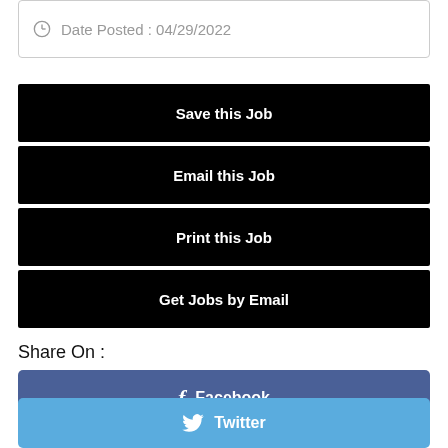Date Posted : 04/29/2022
Save this Job
Email this Job
Print this Job
Get Jobs by Email
Share On :
f  Facebook
Twitter